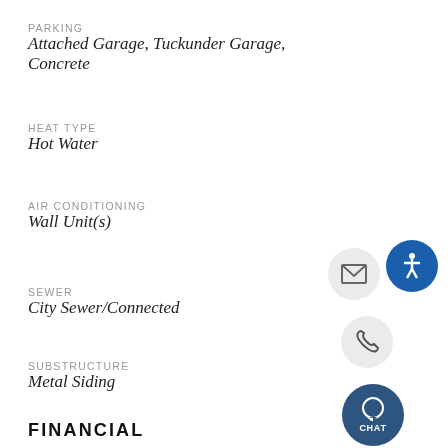PARKING
Attached Garage, Tuckunder Garage, Concrete
HEAT TYPE
Hot Water
AIR CONDITIONING
Wall Unit(s)
SEWER
City Sewer/Connected
SUBSTRUCTURE
Metal Siding
FINANCIAL